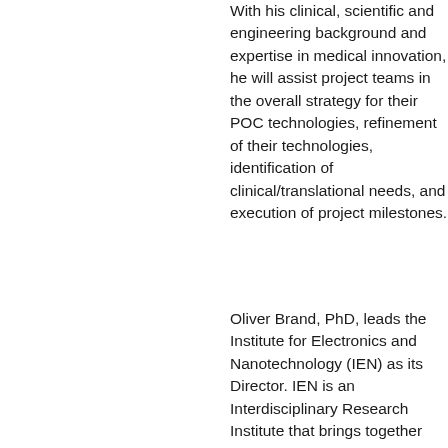With his clinical, scientific and engineering background and expertise in medical innovation, he will assist project teams in the overall strategy for their POC technologies, refinement of their technologies, identification of clinical/translational needs, and execution of project milestones.
Oliver Brand, PhD, leads the Institute for Electronics and Nanotechnology (IEN) as its Director. IEN is an Interdisciplinary Research Institute that brings together faculty and researchers from different disciplines to promote and enable